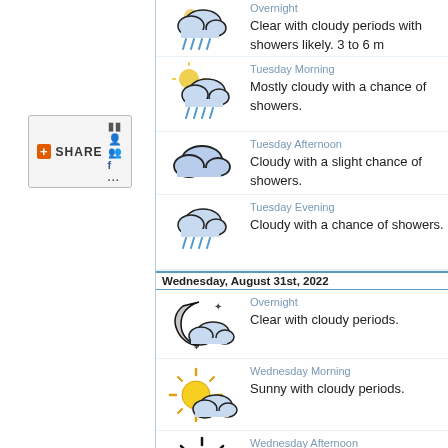[Figure (screenshot): Share button with plus icon and social media icons]
Wednesday, August 31st, 2022
Overnight — Clear with cloudy periods.
Wednesday Morning — Sunny with cloudy periods.
Wednesday Afternoon — Sunny.
Wednesday Evening — Clear.
Thursday, September 1st, 2022
Overnight